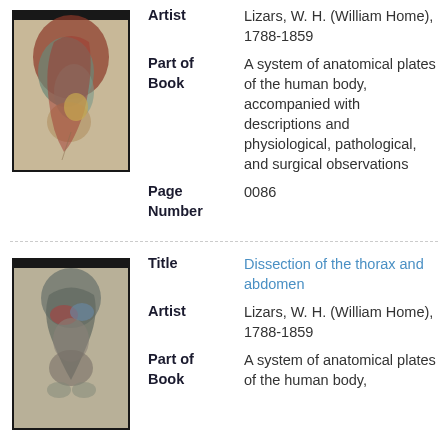[Figure (illustration): Anatomical illustration showing dissection of the abdomen and pelvis, colorized engraving with red, blue, and beige tones]
Artist: Lizars, W. H. (William Home), 1788-1859
Part of Book: A system of anatomical plates of the human body, accompanied with descriptions and physiological, pathological, and surgical observations
Page Number: 0086
[Figure (illustration): Anatomical illustration showing dissection of the thorax and abdomen, colorized engraving in grey-green tones]
Title: Dissection of the thorax and abdomen
Artist: Lizars, W. H. (William Home), 1788-1859
Part of Book: A system of anatomical plates of the human body...